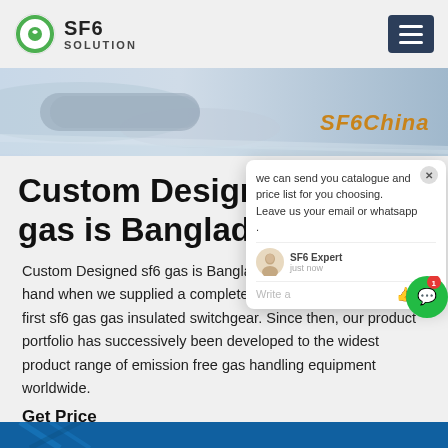SF6 SOLUTION
[Figure (photo): Hero banner image showing industrial SF6 gas equipment in snowy/icy conditions with SF6China watermark]
Custom Designed sf6 gas is Bangladesh
Custom Designed sf6 gas is Bangladesh path in insulating gas gas handling, when we supplied a complete piping installation of the first sf6 gas gas insulated switchgear. Since then, our product portfolio has successively been developed to the widest product range of emission free gas handling equipment worldwide.
Get Price
[Figure (screenshot): Chat popup widget showing message: we can send you catalogue and price list for you choosing. Leave us your email or whatsapp. With SF6 Expert agent avatar and just now timestamp, Write a message input area.]
[Figure (photo): Bottom strip showing blue background with partial industrial/electrical image]